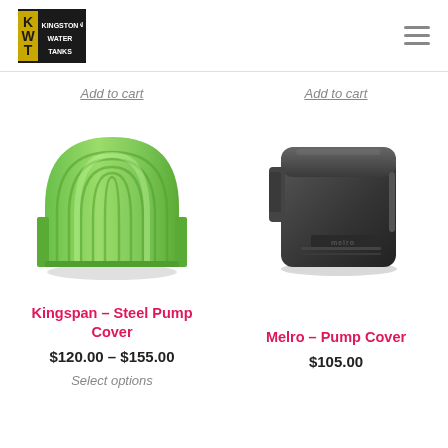Kingston Water Tanks
Add to cart
Add to cart
[Figure (photo): Green ribbed arch-shaped plastic pump cover (Kingspan Steel Pump Cover)]
[Figure (photo): Dark grey/black boxy plastic pump cover with ventilation slots (Melro Pump Cover)]
Kingspan – Steel Pump Cover
$120.00 – $155.00
Select options
Melro – Pump Cover
$105.00